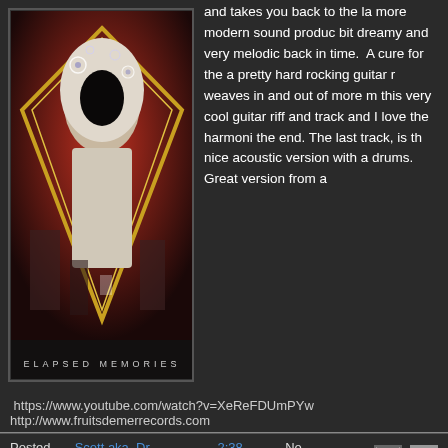[Figure (photo): Album cover for 'Elapsed Memories' — shows a surreal figure with orbs/bubbles against a red background, inside a gold diamond frame, with the text ELAPSED MEMORIES at the bottom.]
and takes you back to the la more modern sound produc bit dreamy and very melodic back in time. A cure for the a pretty hard rocking guitar r weaves in and out of more m this very cool guitar riff and track and I love the harmoni the end. The last track, is th nice acoustic version with a drums. Great version from a
https://www.youtube.com/watch?v=XeReFDUmPYw
http://www.fruitsdemerrecords.com
Posted by Scott aka. Dr. Space at 2:38 AM   No comments:
Pharoah Overlord- Överhörn cassette (R Music RUT-009)
Wow.. what can I say.. this is one very intense tape but kicks total ass. A concert from the Lepakkomies club in Helsinki from 2012. The band a j loud, intense and in your face… The place must have been like a comple